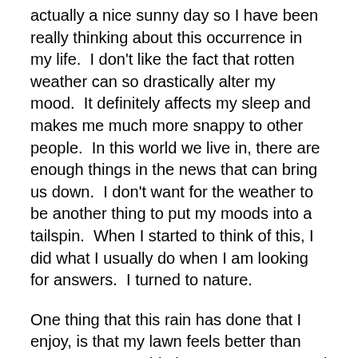actually a nice sunny day so I have been really thinking about this occurrence in my life.  I don't like the fact that rotten weather can so drastically alter my mood.  It definitely affects my sleep and makes me much more snappy to other people.  In this world we live in, there are enough things in the news that can bring us down.  I don't want for the weather to be another thing to put my moods into a tailspin.  When I started to think of this, I did what I usually do when I am looking for answers.  I turned to nature.
One thing that this rain has done that I enjoy, is that my lawn feels better than ever.  I am not a big lawn person to spend a lot of time manicuring my piece of sod on my property.  Next year, I actually want to take out all of the lawn in our backyard and replace it with wild flowers which I think I will get much more enjoyment out of.  However, the other day I walked across the front lawn in